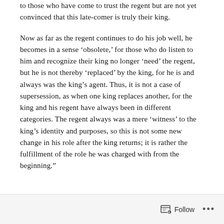to those who have come to trust the regent but are not yet convinced that this late-comer is truly their king.
Now as far as the regent continues to do his job well, he becomes in a sense ‘obsolete,’ for those who do listen to him and recognize their king no longer ‘need’ the regent, but he is not thereby ‘replaced’ by the king, for he is and always was the king’s agent. Thus, it is not a case of supersession, as when one king replaces another, for the king and his regent have always been in different categories. The regent always was a mere ‘witness’ to the king’s identity and purposes, so this is not some new change in his role after the king returns; it is rather the fulfillment of the role he was charged with from the beginning.”
Follow •••